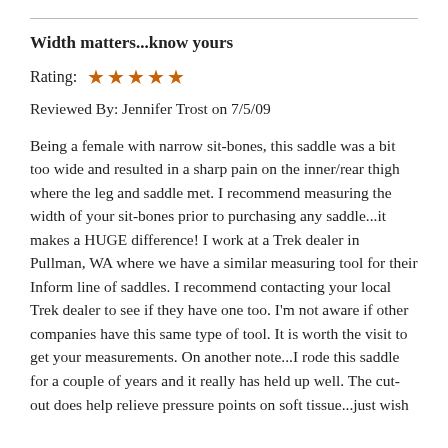Width matters...know yours
Rating: ★★★★★
Reviewed By: Jennifer Trost on 7/5/09
Being a female with narrow sit-bones, this saddle was a bit too wide and resulted in a sharp pain on the inner/rear thigh where the leg and saddle met. I recommend measuring the width of your sit-bones prior to purchasing any saddle...it makes a HUGE difference! I work at a Trek dealer in Pullman, WA where we have a similar measuring tool for their Inform line of saddles. I recommend contacting your local Trek dealer to see if they have one too. I'm not aware if other companies have this same type of tool. It is worth the visit to get your measurements. On another note...I rode this saddle for a couple of years and it really has held up well. The cut-out does help relieve pressure points on soft tissue...just wish